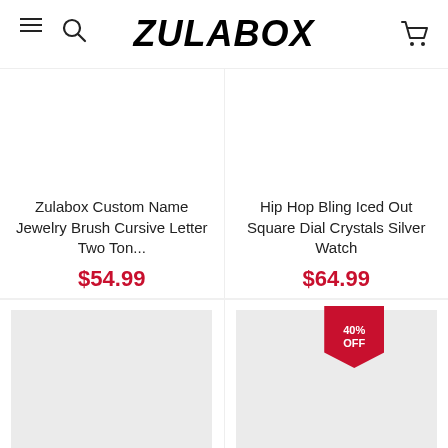ZULABOX
Zulabox Custom Name Jewelry Brush Cursive Letter Two Ton... $54.99
Hip Hop Bling Iced Out Square Dial Crystals Silver Watch $64.99
[Figure (photo): Product image placeholder for 3MM 4MM 5MM Rope Chain Women Necklace]
[Figure (photo): Product image placeholder for Claw Setting Bling Ice Out Stud Earrings, with 40% OFF badge]
3MM 4MM 5MM Rope Chain Women Necklace
$9.90
Claw Setting Bling Ice Out Stud Earrings
$29.99